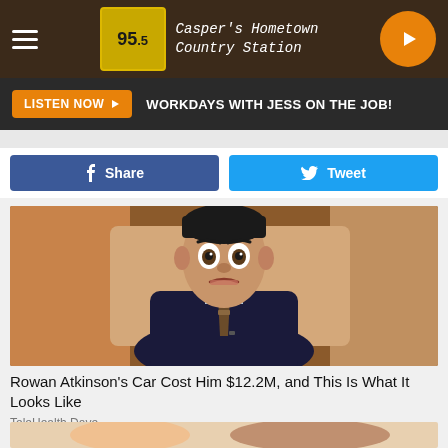95.5 — Casper's Hometown Country Station
LISTEN NOW ▶  WORKDAYS WITH JESS ON THE JOB!
f Share   Tweet
[Figure (photo): Rowan Atkinson making an exaggerated facial expression, wearing a dark suit, light blue shirt and dotted tie, seated in what appears to be a TV interview setting with warm brown background]
Rowan Atkinson's Car Cost Him $12.2M, and This Is What It Looks Like
TeleHealth Dave
[Figure (illustration): Bottom portion of an illustration partially visible]